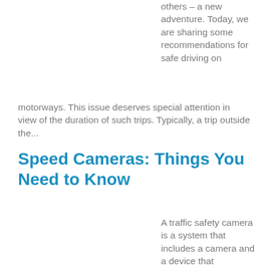others – a new adventure. Today, we are sharing some recommendations for safe driving on motorways. This issue deserves special attention in view of the duration of such trips. Typically, a trip outside the...
Speed Cameras: Things You Need to Know
A traffic safety camera is a system that includes a camera and a device that automatically detects violations of traffic rules, for example, the vehicle exceeding the speed limit for a given section. There are various implementation